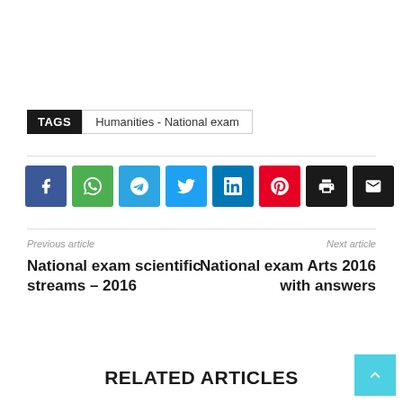TAGS   Humanities - National exam
[Figure (infographic): Row of 8 social media share buttons: Facebook (blue), WhatsApp (green), Telegram (blue), Twitter (light blue), LinkedIn (dark blue), Pinterest (red), Print (black), Email (black)]
Previous article
National exam scientific streams – 2016
Next article
National exam Arts 2016 with answers
RELATED ARTICLES